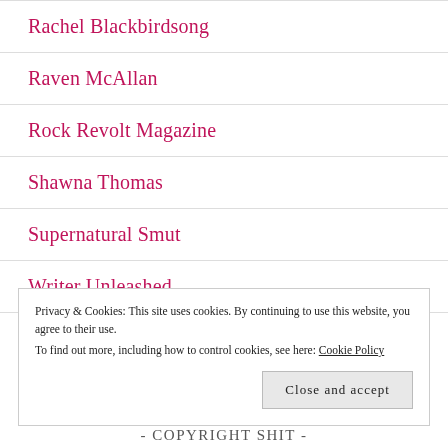Rachel Blackbirdsong
Raven McAllan
Rock Revolt Magazine
Shawna Thomas
Supernatural Smut
Writer Unleashed
Privacy & Cookies: This site uses cookies. By continuing to use this website, you agree to their use. To find out more, including how to control cookies, see here: Cookie Policy
Close and accept
- COPYRIGHT SHIT -